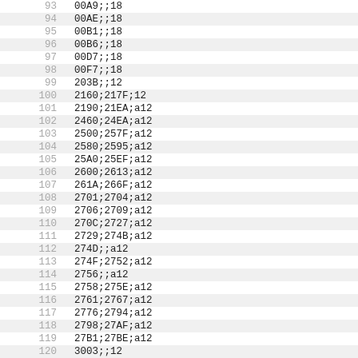| row | code |
| --- | --- |
| 93 | 00A9;;18 |
| 94 | 00AE;;18 |
| 95 | 00B1;;18 |
| 96 | 00B6;;18 |
| 97 | 00D7;;18 |
| 98 | 00F7;;18 |
| 99 | 203B;;12 |
| 100 | 2160;217F;12 |
| 101 | 2190;21EA;a12 |
| 102 | 2460;24EA;a12 |
| 103 | 2500;257F;a12 |
| 104 | 2580;2595;a12 |
| 105 | 25A0;25EF;a12 |
| 106 | 2600;2613;a12 |
| 107 | 261A;266F;a12 |
| 108 | 2701;2704;a12 |
| 109 | 2706;2709;a12 |
| 110 | 270C;2727;a12 |
| 111 | 2729;274B;a12 |
| 112 | 274D;;a12 |
| 113 | 274F;2752;a12 |
| 114 | 2756;;a12 |
| 115 | 2758;275E;a12 |
| 116 | 2761;2767;a12 |
| 117 | 2776;2794;a12 |
| 118 | 2798;27AF;a12 |
| 119 | 27B1;27BE;a12 |
| 120 | 3003;;12 |
| 121 | 3004;;12 |
| 122 | 3006;;12 |
| 123 | 3007;;12 |
| 124 | 3012;;12 |